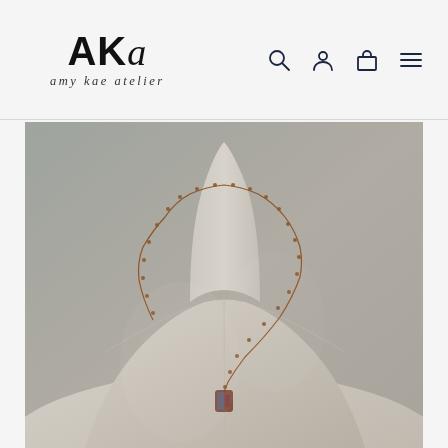AKa amy kae atelier — navigation header with search, account, cart, and menu icons
[Figure (photo): A linen dress form/mannequin torso wearing a delicate copper-toned satellite chain necklace with a pendant, photographed against a soft gray background. The necklace drapes elegantly around the neckline of the mannequin.]